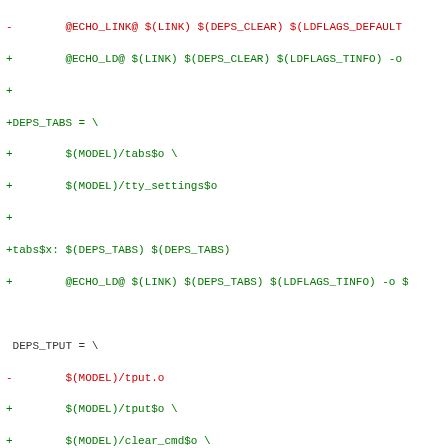Diff/patch code showing makefile changes with red (removed) and green (added) lines for build targets including DEPS_TABS, DEPS_TPUT, DEPS_INFOCMP sections